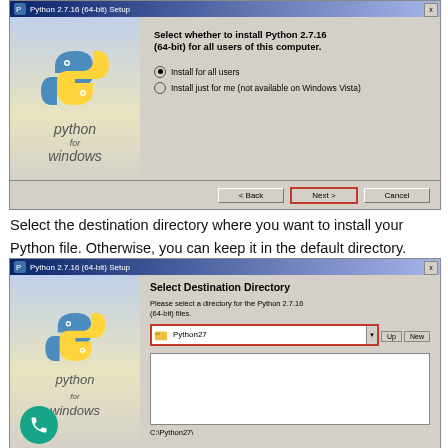[Figure (screenshot): Python 2.7.16 (64-bit) Setup installer dialog asking to select whether to install for all users or just for me. 'Install for all users' radio is selected. Next button is highlighted with a red border.]
Select the destination directory where you want to install your Python file. Otherwise, you can keep it in the default directory.  After that, click on Next.
[Figure (screenshot): Python 2.7.16 (64-bit) Setup installer showing Select Destination Directory dialog with Python27 in directory bar highlighted in red, and C:\Python27\ shown at the bottom.]